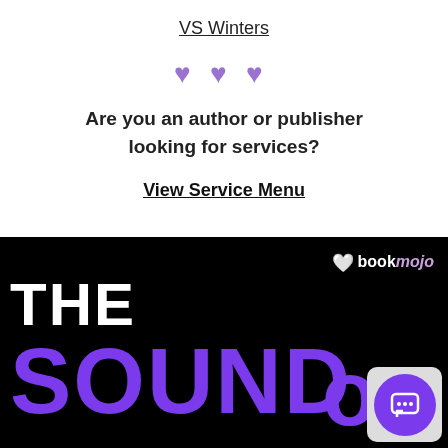VS Winters
[Figure (illustration): Three purple heart emoji icons in a row]
Are you an author or publisher looking for services?
View Service Menu
[Figure (illustration): Book cover promotional image on black background with bookmojo logo and large purple text reading THE SOUND with a partial letter visible, plus a chat widget overlay in bottom right]